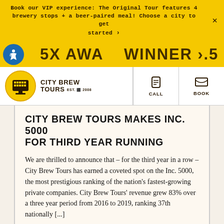Book our VIP experience: The Original Tour features 4 brewery stops + a beer-paired meal! Choose a city to get started ›
[Figure (logo): City Brew Tours logo with award banner showing '5X AWARD WINNER']
CITY BREW TOURS MAKES INC. 5000 FOR THIRD YEAR RUNNING
We are thrilled to announce that – for the third year in a row – City Brew Tours has earned a coveted spot on the Inc. 5000, the most prestigious ranking of the nation's fastest-growing private companies. City Brew Tours' revenue grew 83% over a three year period from 2016 to 2019, ranking 37th nationally [...]